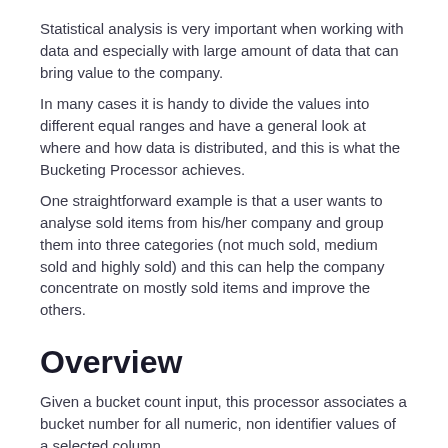Statistical analysis is very important when working with data and especially with large amount of data that can bring value to the company.
In many cases it is handy to divide the values into different equal ranges and have a general look at where and how data is distributed, and this is what the Bucketing Processor achieves.
One straightforward example is that a user wants to analyse sold items from his/her company and group them into three categories (not much sold, medium sold and highly sold) and this can help the company concentrate on mostly sold items and improve the others.
Overview
Given a bucket count input, this processor associates a bucket number for all numeric, non identifier values of a selected column.
Bucketing refers to the process of dividing a set of values into equal intervals and assigning an interval index to each value of this set.